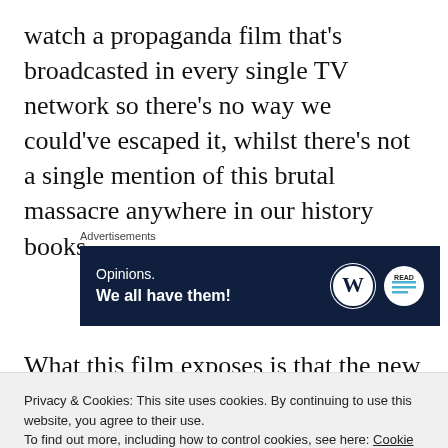watch a propaganda film that's broadcasted in every single TV network so there's no way we could've escaped it, whilst there's not a single mention of this brutal massacre anywhere in our history books.
[Figure (screenshot): Advertisement banner with dark navy background. Text reads 'Opinions. We all have them!' with WordPress logo and another circular logo on the right. Labeled 'Advertisements' above.]
What this film exposes is that the new military
Privacy & Cookies: This site uses cookies. By continuing to use this website, you agree to their use. To find out more, including how to control cookies, see here: Cookie Policy
most brutal genocide in history, with nearly a